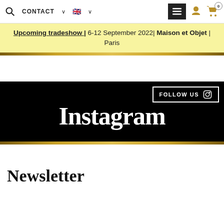CONTACT | [flag] | [menu] | [user icon] | [cart 0]
Upcoming tradeshow | 6-12 September 2022| Maison et Objet | Paris
[Figure (screenshot): Black section with FOLLOW US Instagram icon button and large Instagram text]
Newsletter